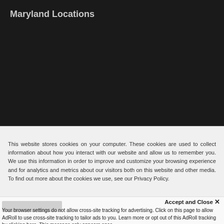Maryland Locations
[Figure (screenshot): Dark background section of a website showing 'Maryland Locations' heading]
This website stores cookies on your computer. These cookies are used to collect information about how you interact with our website and allow us to remember you. We use this information in order to improve and customize your browsing experience and for analytics and metrics about our visitors both on this website and other media. To find out more about the cookies we use, see our Privacy Policy.
Accept and Close ✕
Your browser settings do not allow cross-site tracking for advertising. Click on this page to allow AdRoll to use cross-site tracking to tailor ads to you. Learn more or opt out of this AdRoll tracking by clicking here. This message only appears once.